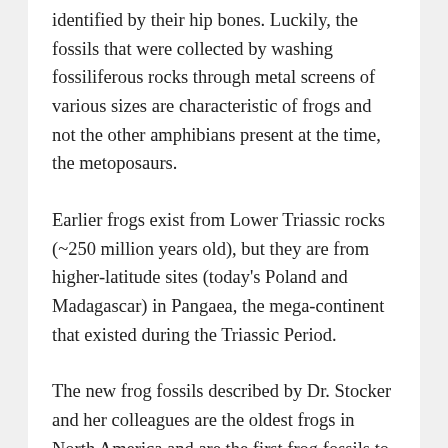identified by their hip bones. Luckily, the fossils that were collected by washing fossiliferous rocks through metal screens of various sizes are characteristic of frogs and not the other amphibians present at the time, the metoposaurs.
Earlier frogs exist from Lower Triassic rocks (~250 million years old), but they are from higher-latitude sites (today's Poland and Madagascar) in Pangaea, the mega-continent that existed during the Triassic Period.
The new frog fossils described by Dr. Stocker and her colleagues are the oldest frogs in North America and are the first frog fossils to be found